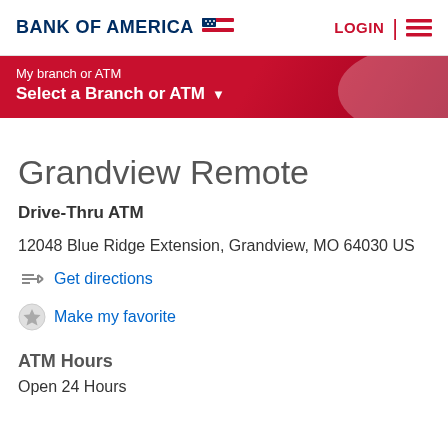BANK OF AMERICA | LOGIN
My branch or ATM
Select a Branch or ATM
Grandview Remote
Drive-Thru ATM
12048 Blue Ridge Extension, Grandview, MO 64030 US
Get directions
Make my favorite
ATM Hours
Open 24 Hours